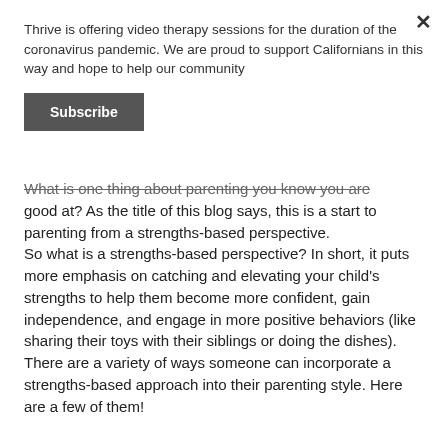Thrive is offering video therapy sessions for the duration of the coronavirus pandemic. We are proud to support Californians in this way and hope to help our community
Subscribe
What is one thing about parenting you know you are good at? As the title of this blog says, this is a start to parenting from a strengths-based perspective. So what is a strengths-based perspective? In short, it puts more emphasis on catching and elevating your child's strengths to help them become more confident, gain independence, and engage in more positive behaviors (like sharing their toys with their siblings or doing the dishes). There are a variety of ways someone can incorporate a strengths-based approach into their parenting style. Here are a few of them!